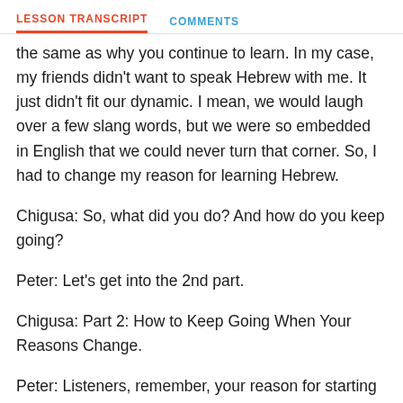LESSON TRANSCRIPT   COMMENTS
the same as why you continue to learn. In my case, my friends didn't want to speak Hebrew with me. It just didn't fit our dynamic. I mean, we would laugh over a few slang words, but we were so embedded in English that we could never turn that corner. So, I had to change my reason for learning Hebrew.
Chigusa: So, what did you do? And how do you keep going?
Peter: Let's get into the 2nd part.
Chigusa: Part 2: How to Keep Going When Your Reasons Change.
Peter: Listeners, remember, your reason for starting a